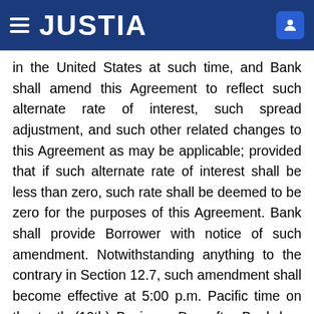JUSTIA
in the United States at such time, and Bank shall amend this Agreement to reflect such alternate rate of interest, such spread adjustment, and such other related changes to this Agreement as may be applicable; provided that if such alternate rate of interest shall be less than zero, such rate shall be deemed to be zero for the purposes of this Agreement. Bank shall provide Borrower with notice of such amendment. Notwithstanding anything to the contrary in Section 12.7, such amendment shall become effective at 5:00 p.m. Pacific time on the tenth (10th) Business Day after Bank has provided such amendment to Borrower without any further action or consent of Borrower, so long as Bank has not received, by such time, written notice of objection to such amendment from Borrower. In the event that